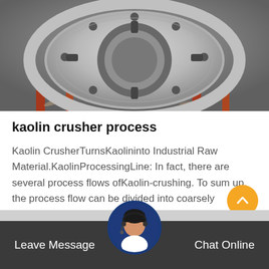[Figure (photo): Industrial kaolin crusher machine component — large circular metal disc/ring assembly on a workshop floor, showing a heavy metal flange or rotor with bolt holes and slots, resting on red-painted supports.]
kaolin crusher process
Kaolin CrusherTurnsKaolininto Industrial Raw Material.KaolinProcessingLine: In fact, there are several process flows ofKaolin-crushing. To sum up, the process flow can be divided into coarsely crushing, finely crushing and grinding. Ne…
Get Price
Leave Message   Chat Online